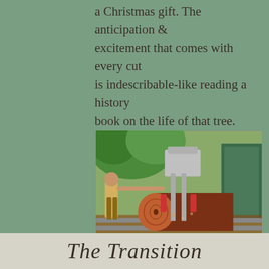a Christmas gift. The anticipation & excitement that comes with every cut is indescribable-like reading a history book on the life of that tree.
[Figure (photo): A person operating a large bandsaw mill, cutting a large log on a metal frame track. Green vegetation visible in background, industrial green shed on right.]
The Transition